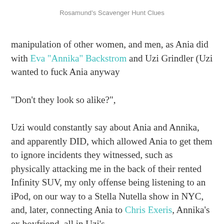Rosamund's Scavenger Hunt Clues
manipulation of other women, and men, as Ania did with Eva “Annika” Backstrom and Uzi Grindler (Uzi wanted to fuck Ania anyway
“Don’t they look so alike?”,
Uzi would constantly say about Ania and Annika, and apparently DID, which allowed Ania to get them to ignore incidents they witnessed, such as physically attacking me in the back of their rented Infinity SUV, my only offense being listening to an iPod, on our way to a Stella Nutella show in NYC, and, later, connecting Ania to Chris Exeris, Annika’s ex boyfriend, all in Uzi’s